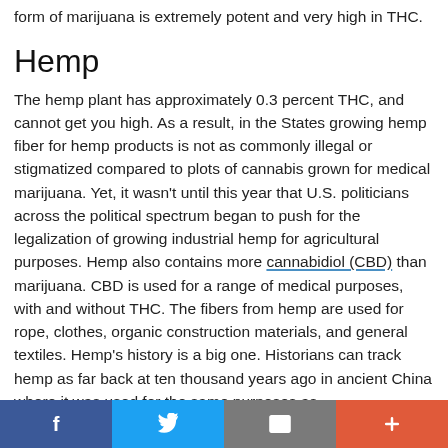form of marijuana is extremely potent and very high in THC.
Hemp
The hemp plant has approximately 0.3 percent THC, and cannot get you high. As a result, in the States growing hemp fiber for hemp products is not as commonly illegal or stigmatized compared to plots of cannabis grown for medical marijuana. Yet, it wasn't until this year that U.S. politicians across the political spectrum began to push for the legalization of growing industrial hemp for agricultural purposes. Hemp also contains more cannabidiol (CBD) than marijuana. CBD is used for a range of medical purposes, with and without THC. The fibers from hemp are used for rope, clothes, organic construction materials, and general textiles. Hemp's history is a big one. Historians can track hemp as far back at ten thousand years ago in ancient China where it was used for the same purposes as
f  [twitter]  [mail]  +